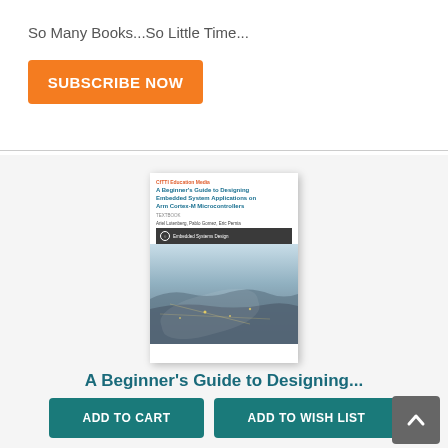So Many Books...So Little Time...
SUBSCRIBE NOW
[Figure (photo): Book cover of 'A Beginner's Guide to Designing Embedded System Applications on Arm Cortex-M Microcontrollers' by Ariel Lutenberg, Pablo Gomez, Eric Pernia. Published by CfTTI Education Media. Part of Embedded Systems Design series. Cover image shows a satellite or aerial view of a coastal landscape.]
A Beginner's Guide to Designing...
BY ARIEL LUTENBERG, PABLO GOMEZ, ERIC PERNIA
$54.99
ADD TO CART
ADD TO WISH LIST